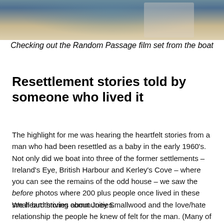[Figure (photo): Photo of people on a boat, checking out the Random Passage film set]
Checking out the Random Passage film set from the boat
Resettlement stories told by someone who lived it
The highlight for me was hearing the heartfelt stories from a man who had been resettled as a baby in the early 1960's. Not only did we boat into three of the former settlements – Ireland's Eye, British Harbour and Kerley's Cove – where you can see the remains of the odd house – we saw the before photos where 200 plus people once lived in these small but thriving communities.
We heard stories about Joey Smallwood and the love/hate relationship the people he knew of felt for the man. (Many of the people loved the Baby Bonus, he said.)